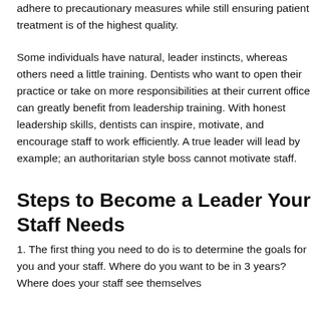adhere to precautionary measures while still ensuring patient treatment is of the highest quality.
Some individuals have natural, leader instincts, whereas others need a little training. Dentists who want to open their practice or take on more responsibilities at their current office can greatly benefit from leadership training. With honest leadership skills, dentists can inspire, motivate, and encourage staff to work efficiently. A true leader will lead by example; an authoritarian style boss cannot motivate staff.
Steps to Become a Leader Your Staff Needs
1. The first thing you need to do is to determine the goals for you and your staff. Where do you want to be in 3 years? Where does your staff see themselves